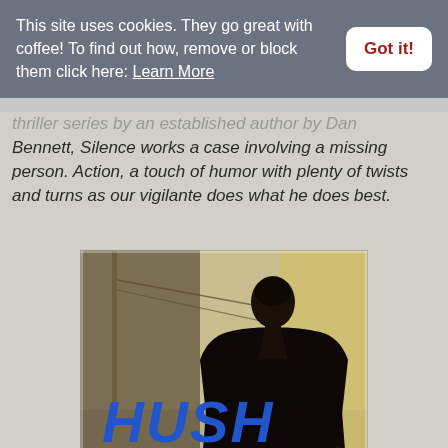This site uses cookies. They go great with coffee! To find out how, remove or block them click here: Learn More
Got it!
Bennett, Silence works a case involving a missing person. Action, a touch of humor with plenty of twists and turns as our vigilante does what he does best.
[Figure (illustration): Book cover for 'Hush Hush: A Silence Jones Thriller' showing a man in a dark suit viewed from behind against a bright background, with bold blue text reading HUSH HUSH and subtitle A SILENCE JONES THRILLER]